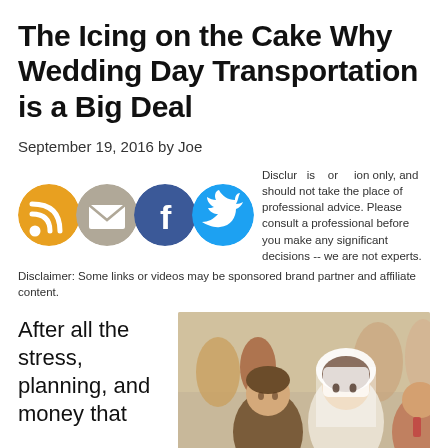The Icing on the Cake Why Wedding Day Transportation is a Big Deal
September 19, 2016 by Joe
[Figure (infographic): Social sharing icons: RSS (orange), Email (beige/grey), Facebook (blue), Twitter (blue)]
Disclaimer: Our content is written for information only, and should not take the place of professional advice. Please consult a professional before you make any significant decisions -- we are not experts.
Disclaimer: Some links or videos may be sponsored brand partner and affiliate content.
After all the stress, planning, and money that
[Figure (photo): Wedding photo showing a groom in a brown suit and a bride in a white veil, seated at a ceremony with guests in the background]